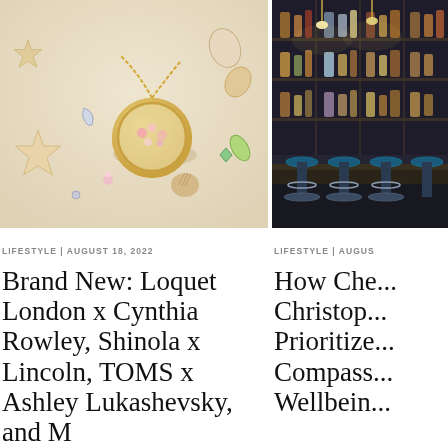[Figure (photo): Jewelry photo showing a gold locket necklace surrounded by starfish, seashells, and colorful gemstone charms on a sandy white background]
[Figure (photo): Interior of an upscale bar with blue bar stools, pendant lighting, and illuminated bottle display shelving]
LIFESTYLE | AUGUST 18, 2022
LIFESTYLE | AUGUS
Brand New: Loquet London x Cynthia Rowley, Shinola x Lincoln, TOMS x Ashley Lukashevsky, and M...
How Che... Christop... Prioritize... Compass... Wellbein...